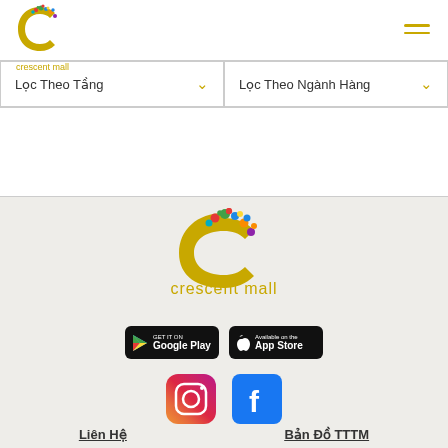crescent mall
Lọc Theo Tầng
Lọc Theo Ngành Hàng
[Figure (logo): Crescent Mall logo - large version in footer]
[Figure (screenshot): Google Play store badge]
[Figure (screenshot): App Store badge]
[Figure (logo): Instagram icon]
[Figure (logo): Facebook icon]
Liên Hệ
Bản Đồ TTTM